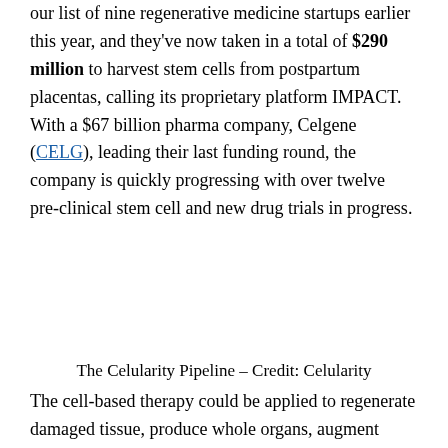our list of nine regenerative medicine startups earlier this year, and they've now taken in a total of $290 million to harvest stem cells from postpartum placentas, calling its proprietary platform IMPACT. With a $67 billion pharma company, Celgene (CELG), leading their last funding round, the company is quickly progressing with over twelve pre-clinical stem cell and new drug trials in progress.
[Figure (other): The Celularity Pipeline image (blank/placeholder area with caption)]
The Celularity Pipeline – Credit: Celularity
The cell-based therapy could be applied to regenerate damaged tissue, produce whole organs, augment immunity, and generally help you live as old as Moses.